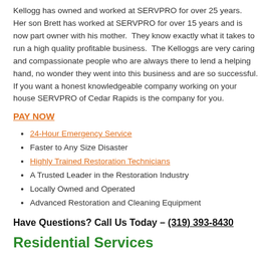Kellogg has owned and worked at SERVPRO for over 25 years.  Her son Brett has worked at SERVPRO for over 15 years and is now part owner with his mother.  They know exactly what it takes to run a high quality profitable business.  The Kelloggs are very caring and compassionate people who are always there to lend a helping hand, no wonder they went into this business and are so successful. If you want a honest knowledgeable company working on your house SERVPRO of Cedar Rapids is the company for you.
PAY NOW
24-Hour Emergency Service
Faster to Any Size Disaster
Highly Trained Restoration Technicians
A Trusted Leader in the Restoration Industry
Locally Owned and Operated
Advanced Restoration and Cleaning Equipment
Have Questions? Call Us Today – (319) 393-8430
Residential Services